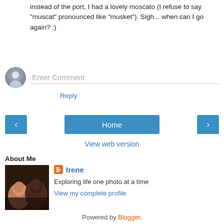instead of the port, I had a lovely moscato (I refuse to say "muscat" pronounced like "musket"). Sigh... when can I go again? :)
Reply
[Figure (other): Comment input field with avatar icon placeholder on left and 'Enter Comment' placeholder text with underline]
[Figure (other): Navigation buttons: left arrow, Home center, right arrow]
View web version
About Me
[Figure (photo): Photo of two women smiling together]
Irene
Exploring life one photo at a time
View my complete profile
Powered by Blogger.